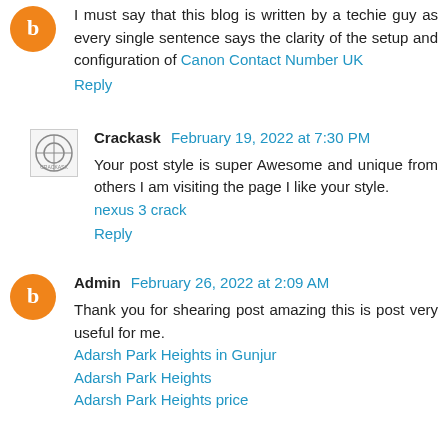I must say that this blog is written by a techie guy as every single sentence says the clarity of the setup and configuration of Canon Contact Number UK
Reply
Crackask  February 19, 2022 at 7:30 PM
Your post style is super Awesome and unique from others I am visiting the page I like your style. nexus 3 crack
Reply
Admin  February 26, 2022 at 2:09 AM
Thank you for shearing post amazing this is post very useful for me. Adarsh Park Heights in Gunjur  Adarsh Park Heights  Adarsh Park Heights price